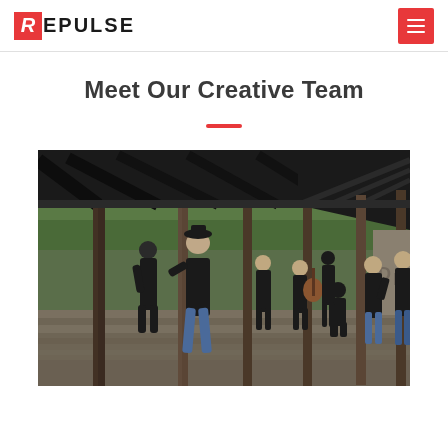REPULSE
Meet Our Creative Team
[Figure (photo): Group photo of a music band or creative team posing in an abandoned industrial structure with steel beams and columns, gravel floor, and trees visible in background. Multiple people dressed in black scattered across the space.]